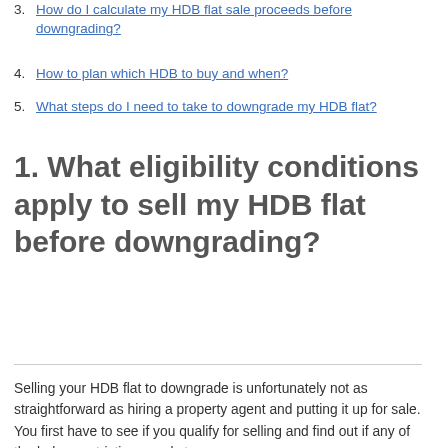3. How do I calculate my HDB flat sale proceeds before downgrading?
4. How to plan which HDB to buy and when?
5. What steps do I need to take to downgrade my HDB flat?
1. What eligibility conditions apply to sell my HDB flat before downgrading?
Selling your HDB flat to downgrade is unfortunately not as straightforward as hiring a property agent and putting it up for sale. You first have to see if you qualify for selling and find out if any of the below restrictions apply to you: